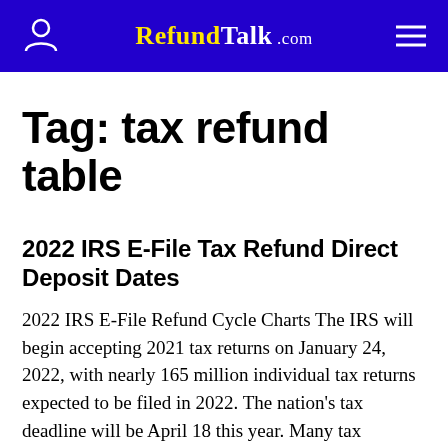RefundTalk.com
Tag: tax refund table
2022 IRS E-File Tax Refund Direct Deposit Dates
2022 IRS E-File Refund Cycle Charts The IRS will begin accepting 2021 tax returns on January 24, 2022, with nearly 165 million individual tax returns expected to be filed in 2022. The nation's tax deadline will be April 18 this year. Many tax software companies